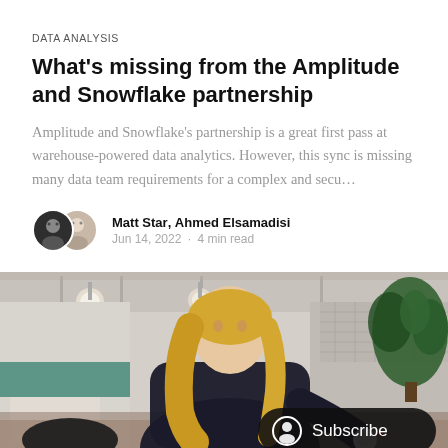DATA ANALYSIS
What's missing from the Amplitude and Snowflake partnership
Amplitude and Snowflake's partnership is a great first pass at warehouse-powered data analytics. However, this sync is missing many data team requirements for a complex and secu…
Matt Star, Ahmed Elsamadisi
Jun 14, 2022 · 4 min read
[Figure (photo): A blonde woman in a dark top working at a desk in a modern office with plants and industrial ceiling. A Subscribe button overlay appears in the bottom right corner.]